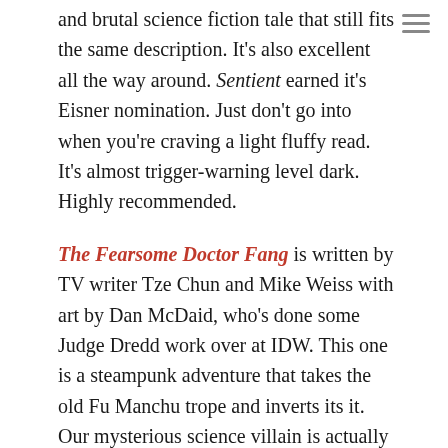and brutal science fiction tale that still fits the same description. It's also excellent all the way around. Sentient earned it's Eisner nomination. Just don't go into when you're craving a light fluffy read.  It's almost trigger-warning level dark.  Highly recommended.
The Fearsome Doctor Fang is written by TV writer Tze Chun and Mike Weiss with art by Dan McDaid, who's done some Judge Dredd work over at IDW. This one is a steampunk adventure that takes the old Fu Manchu trope and inverts its it. Our mysterious science villain is actually a hero. Tech suits, missing siblings and deadly ancient treasures. Something of a steampunk Indiana Jones romp, it's a fun comic.